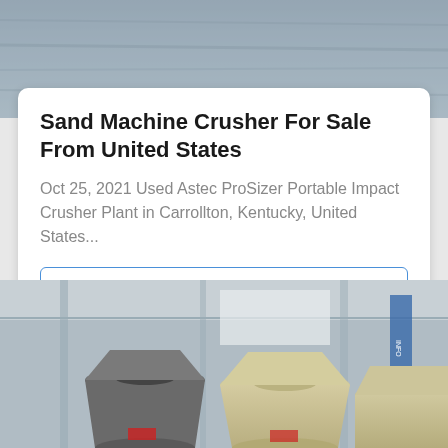[Figure (photo): Partial view of a grey/blue blurred industrial or machinery background, cropped at top]
Sand Machine Crusher For Sale From United States
Oct 25, 2021 Used Astec ProSizer Portable Impact Crusher Plant in Carrollton, Kentucky, United States...
Get Price
[Figure (photo): Industrial crusher machines (cone crushers) in beige/cream color inside a large factory warehouse with steel structure roof and blue signage visible]